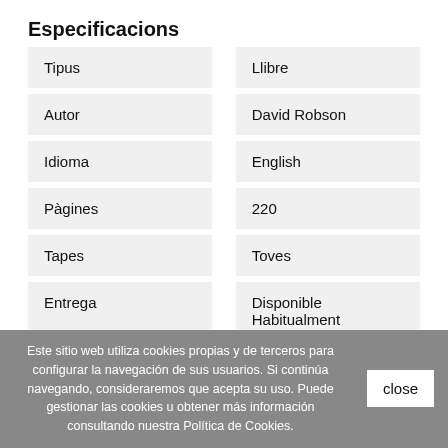Especificacions
| Tipus | Llibre |
| Autor | David Robson |
| Idioma | English |
| Pàgines | 220 |
| Tapes | Toves |
| Entrega | Disponible Habitualment |
Este sitio web utiliza cookies propias y de terceros para configurar la navegación de sus usuarios. Si continúa navegando, consideraremos que acepta su uso. Puede gestionar las cookies u obtener más información consultando nuestra Política de Cookies.